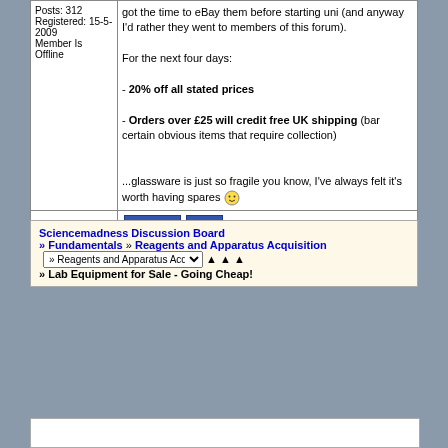got the time to eBay them before starting uni (and anyway I'd rather they went to members of this forum).
For the next four days:
- 20% off all stated prices
- Orders over £25 will credit free UK shipping (bar certain obvious items that require collection)
...glassware is just so fragile you know, I've always felt it's worth having spares :)
Posts: 312
Registered: 15-5-2009
Member Is Offline
PROFILE   FIND
Sciencemadness Discussion Board » Fundamentals » Reagents and Apparatus Acquisition » Lab Equipment for Sale - Going Cheap!
» Reagents and Apparatus Acquisition